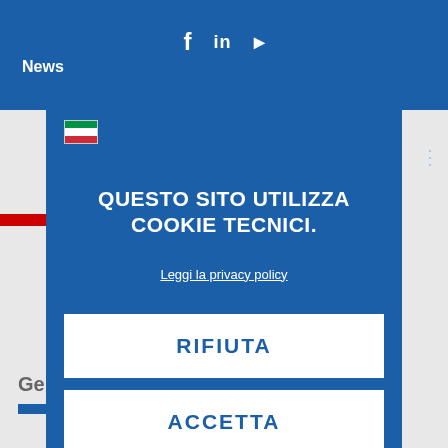News
QUESTO SITO UTILIZZA COOKIE TECNICI.
Leggi la privacy policy
RIFIUTA
ACCETTA
General Delivery Terms